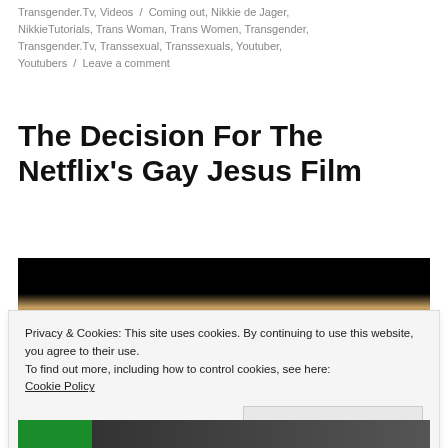Transgender.Tv, Videos / Coming out, Nikkie de Jager, NikkieTutorials, Trans Woman, Trans Women, Transgender, Transgender.Tv, Transsexual, Transsexuals, Youtuber, Youtubers / Leave a comment
The Decision For The Netflix's Gay Jesus Film
[Figure (photo): Screenshot of a video or film still showing a dark upper portion and a partially lit figure below.]
Privacy & Cookies: This site uses cookies. By continuing to use this website, you agree to their use.
To find out more, including how to control cookies, see here: Cookie Policy
Close and accept